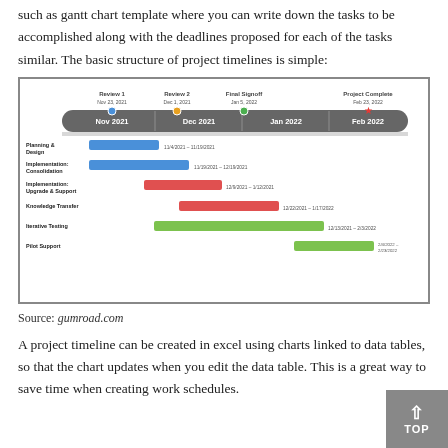such as gantt chart template where you can write down the tasks to be accomplished along with the deadlines proposed for each of the tasks similar. The basic structure of project timelines is simple:
[Figure (infographic): A Gantt chart / project timeline showing tasks: Planning & Design, Implementation Consolidation, Implementation Upgrade & Support, Knowledge Transfer, Iterative Testing, Pilot Support. Timeline spans Nov 2021 to Feb 2022, with milestones: Review 1 (Nov 23, 2021), Review 2 (Dec 1, 2021), Final Signoff (Jan 5, 2022), Project Complete (Feb 23, 2022).]
Source: gumroad.com
A project timeline can be created in excel using charts linked to data tables, so that the chart updates when you edit the data table. This is a great way to save time when creating work schedules.